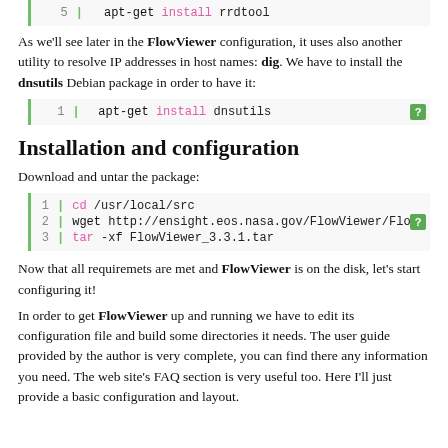[Figure (screenshot): Code block showing line 5: apt-get install rrdtool]
As we'll see later in the FlowViewer configuration, it uses also another utility to resolve IP addresses in host names: dig. We have to install the dnsutils Debian package in order to have it:
[Figure (screenshot): Code block showing line 1: apt-get install dnsutils, with question badge]
Installation and configuration
Download and untar the package:
[Figure (screenshot): Code block showing 3 lines: 1: cd /usr/local/src, 2: wget http://ensight.eos.nasa.gov/FlowViewer/Flo, 3: tar -xf FlowViewer_3.3.1.tar, with question badge]
Now that all requiremets are met and FlowViewer is on the disk, let's start configuring it!
In order to get FlowViewer up and running we have to edit its configuration file and build some directories it needs. The user guide provided by the author is very complete, you can find there any information you need. The web site's FAQ section is very useful too. Here I'll just provide a basic configuration and layout.